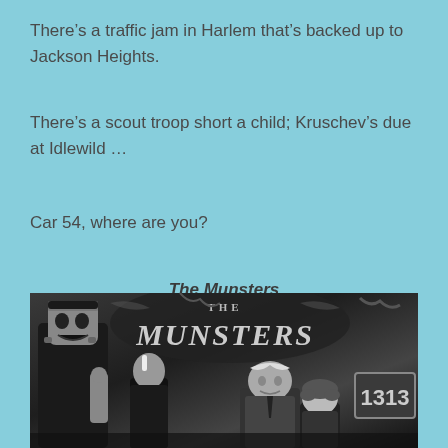There’s a traffic jam in Harlem that’s backed up to Jackson Heights.
There’s a scout troop short a child; Kruschev’s due at Idlewild …
Car 54, where are you?
The Munsters
[Figure (photo): Black and white photo of The Munsters TV show cast standing in front of a sign reading 'The Munsters', with address 1313 visible on the right side. Herman Munster (Frankenstein-like character) stands on the left with mouth open, and other cast members are visible to the right.]